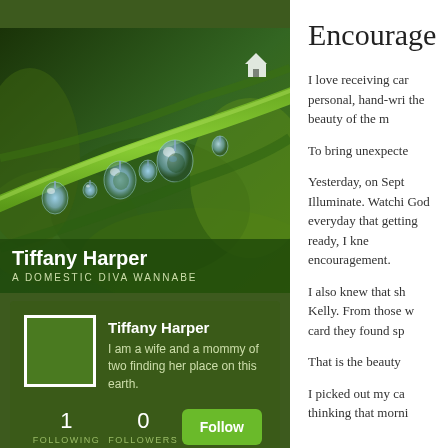[Figure (photo): Close-up photo of water droplets hanging from a green plant stem/grass blade against a blurred green background]
Tiffany Harper
A DOMESTIC DIVA WANNABE
Tiffany Harper
I am a wife and a mommy of two finding her place on this earth.
1 FOLLOWING   0 FOLLOWERS   Follow
Encourage
I love receiving car personal, hand-wri the beauty of the m
To bring unexpecte
Yesterday, on Sept Illuminate.  Watchi God everyday that getting ready, I kne encouragement.
I also knew that sh Kelly. From those w card they found sp
That is the beauty
I picked out my ca thinking that morni